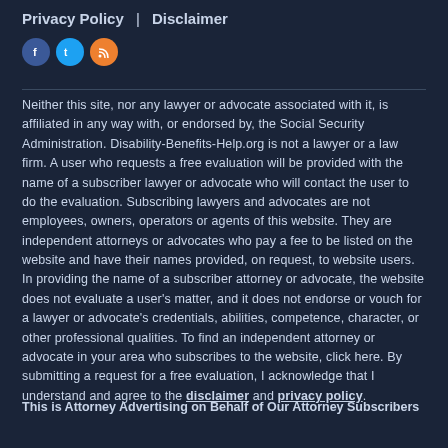Privacy Policy  |  Disclaimer
Neither this site, nor any lawyer or advocate associated with it, is affiliated in any way with, or endorsed by, the Social Security Administration. Disability-Benefits-Help.org is not a lawyer or a law firm. A user who requests a free evaluation will be provided with the name of a subscriber lawyer or advocate who will contact the user to do the evaluation. Subscribing lawyers and advocates are not employees, owners, operators or agents of this website. They are independent attorneys or advocates who pay a fee to be listed on the website and have their names provided, on request, to website users. In providing the name of a subscriber attorney or advocate, the website does not evaluate a user's matter, and it does not endorse or vouch for a lawyer or advocate's credentials, abilities, competence, character, or other professional qualities. To find an independent attorney or advocate in your area who subscribes to the website, click here. By submitting a request for a free evaluation, I acknowledge that I understand and agree to the disclaimer and privacy policy.
This is Attorney Advertising on Behalf of Our Attorney Subscribers